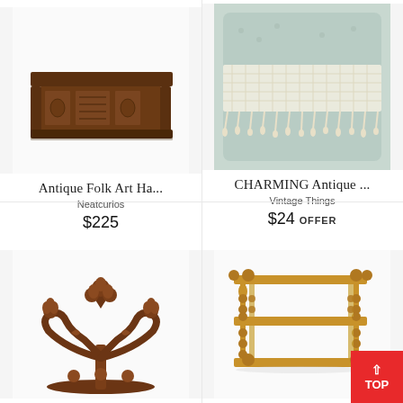[Figure (photo): Antique carved wooden wall shelf with dark brown finish and decorative carved panels]
Antique Folk Art Ha...
Neatcurios
$225
[Figure (photo): Vintage light blue/green embroidered textile with cream crochet lace trim and tassel fringe]
CHARMING Antique ...
Vintage Things
$24 OFFER
[Figure (photo): Antique carved dark wood decorative crown/crest with floral and shamrock motifs]
[Figure (photo): Antique wooden three-tiered shelf/bookcase with bobbin-turned spindle supports]